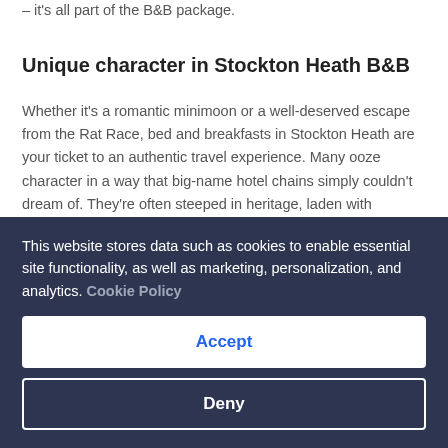– it's all part of the B&B package.
Unique character in Stockton Heath B&B
Whether it's a romantic minimoon or a well-deserved escape from the Rat Race, bed and breakfasts in Stockton Heath are your ticket to an authentic travel experience. Many ooze character in a way that big-name hotel chains simply couldn't dream of. They're often steeped in heritage, laden with interesting design features, or just downright cool, edgy and individual. The reason? They are the brainchild of their owners, who lovingly bestow unique touches and nuances to make them stand out from the crowd.
And the personality of these cosy pads doesn't end there.
This website stores data such as cookies to enable essential site functionality, as well as marketing, personalization, and analytics. Cookie Policy
Accept
Deny